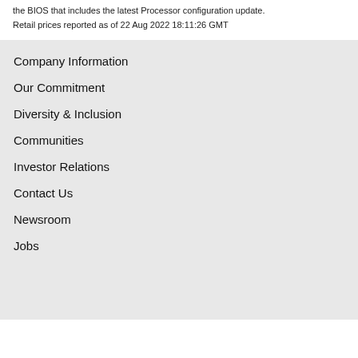the BIOS that includes the latest Processor configuration update.
Retail prices reported as of 22 Aug 2022 18:11:26 GMT
Company Information
Our Commitment
Diversity & Inclusion
Communities
Investor Relations
Contact Us
Newsroom
Jobs